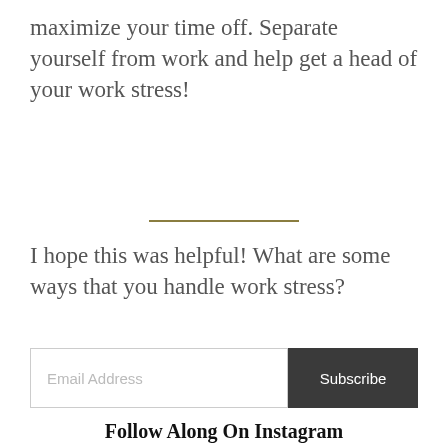maximize your time off. Separate yourself from work and help get a head of your work stress!
I hope this was helpful! What are some ways that you handle work stress?
Email Address
Subscribe
Follow Along On Instagram @teenafey
[Figure (photo): Outdoor photo showing people with trees and cloudy sky in background]